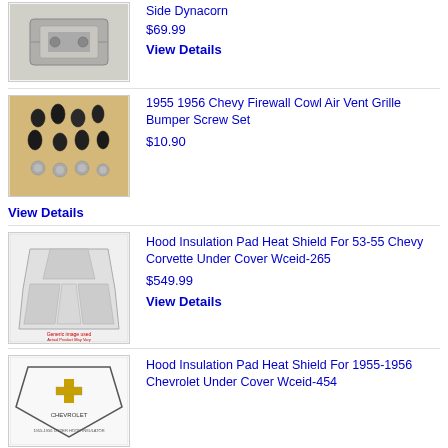[Figure (photo): Metal bracket/hinge part photo]
Side Dynacorn
$69.99
View Details
[Figure (photo): Black screws and bolts on wooden surface]
1955 1956 Chevy Firewall Cowl Air Vent Grille Bumper Screw Set
$10.90
View Details
[Figure (photo): Hood insulation pad heat shield diagram for Corvette]
Hood Insulation Pad Heat Shield For 53-55 Chevy Corvette Under Cover Wceid-265
$549.99
View Details
[Figure (photo): Hood insulation pad heat shield for 1955-1956 Chevrolet]
Hood Insulation Pad Heat Shield For 1955-1956 Chevrolet Under Cover Wceid-454